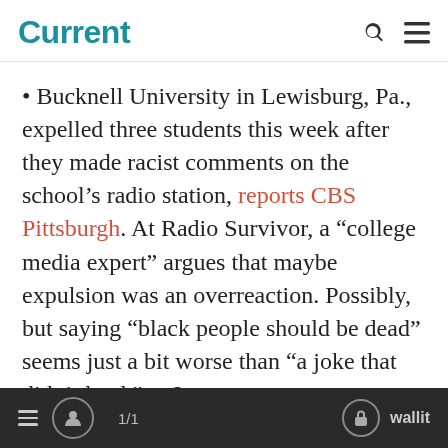Current
Bucknell University in Lewisburg, Pa., expelled three students this week after they made racist comments on the school’s radio station, reports CBS Pittsburgh. At Radio Survivor, a “college media expert” argues that maybe expulsion was an overreaction. Possibly, but saying “black people should be dead” seems just a bit worse than “a joke that didn’t land,” no?
1/1  wallit